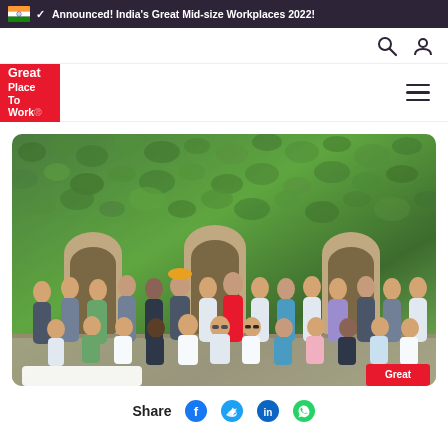✓ Announced! India's Great Mid-size Workplaces 2022!
[Figure (logo): Great Place To Work logo in red]
[Figure (photo): Group photo of approximately 35-40 professionals posing in front of an ivy-covered wall with arched doorways. Two rows — standing and seated. Great Place To Work watermark in bottom right corner.]
Share